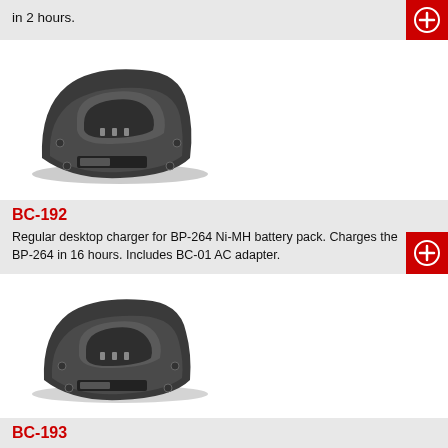in 2 hours.
[Figure (photo): BC-192 desktop battery charger, dark gray plastic unit with cradle design]
BC-192
Regular desktop charger for BP-264 Ni-MH battery pack. Charges the BP-264 in 16 hours. Includes BC-01 AC adapter.
[Figure (photo): BC-193 desktop battery charger, dark gray plastic unit with cradle design]
BC-193
Rapid desktop charger for Li-Ion battery pack BP-265. Charges the BP-265 in 2.5 hours. Includes BC-06 AC adapter.
[Figure (photo): Partial view of another charger product at bottom of page]